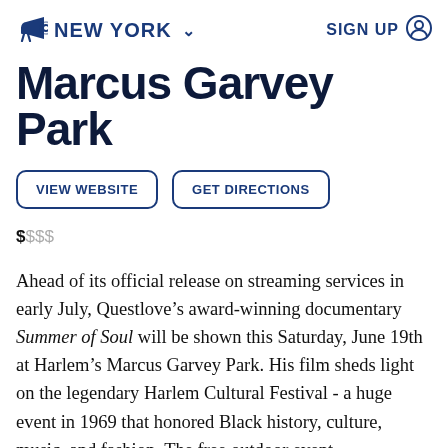NEW YORK   SIGN UP
Marcus Garvey Park
VIEW WEBSITE   GET DIRECTIONS
$SSS
Ahead of its official release on streaming services in early July, Questlove’s award-winning documentary Summer of Soul will be shown this Saturday, June 19th at Harlem’s Marcus Garvey Park. His film sheds light on the legendary Harlem Cultural Festival - a huge event in 1969 that honored Black history, culture, music, and fashion. The free outdoor event